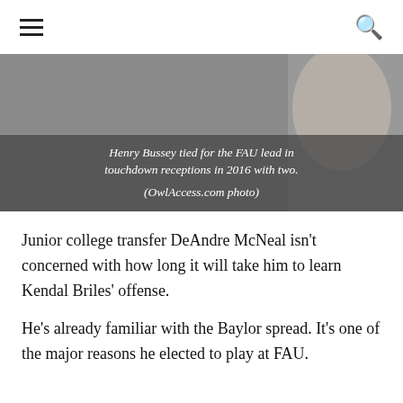≡  🔍
[Figure (photo): Photo of a football player, partially visible, with a caption overlay. Caption reads: Henry Bussey tied for the FAU lead in touchdown receptions in 2016 with two. (OwlAccess.com photo)]
Henry Bussey tied for the FAU lead in touchdown receptions in 2016 with two. (OwlAccess.com photo)
Junior college transfer DeAndre McNeal isn't concerned with how long it will take him to learn Kendal Briles' offense.
He's already familiar with the Baylor spread. It's one of the major reasons he elected to play at FAU.
McNeal began his career at Texas playing under offensive coordinator Sterlin Gilbert, a former graduate assistant under Kendal's